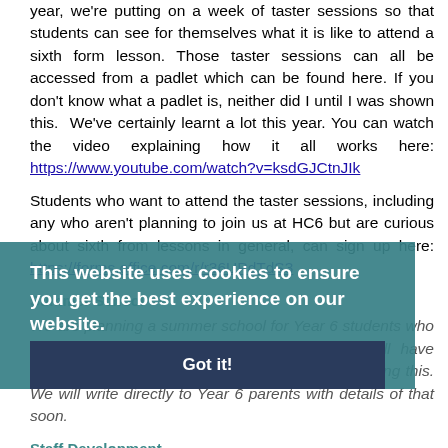year, we're putting on a week of taster sessions so that students can see for themselves what it is like to attend a sixth form lesson. Those taster sessions can all be accessed from a padlet which can be found here. If you don't know what a padlet is, neither did I until I was shown this.  We've certainly learnt a lot this year. You can watch the video explaining how it all works here: https://www.youtube.com/watch?v=ksdGJCtnJIk
Students who want to attend the taster sessions, including any who aren't planning to join us at HC6 but are curious about sixth from lessons in general, can sign up here: https://forms.office.com/r/r36UPdTdS3
Summer School
We are planning a summer school for Year 6 students who are joining us in September. Many of them will have siblings in the school, so their parents will be reading this. We will write directly to Year 6 parents with details of that soon.
Staff Development
Our staff development offer is in two broad parts. Firstly, there is the opt-in offer for those teachers who most want to talk about
This website uses cookies to ensure you get the best experience on our website.
Learn more
Got it!